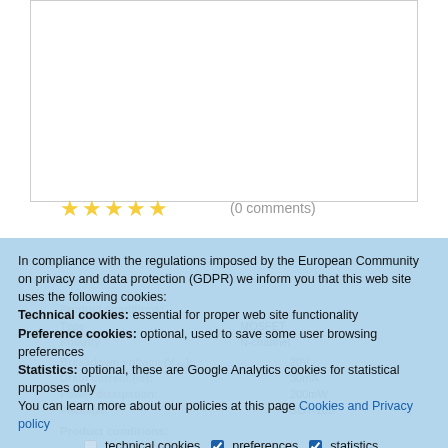[Figure (screenshot): Star rating icons (5 stars, yellow) and comment count '(0 comments)' visible in background]
In compliance with the regulations imposed by the European Community on privacy and data protection (GDPR) we inform you that this web site uses the following cookies: Technical cookies: essential for proper web site functionality Preference cookies: optional, used to save some user browsing preferences Statistics: optional, these are Google Analytics cookies for statistical purposes only You can learn more about our policies at this page Cookies and Privacy policy
technical cookies  preferences  statistics
OK, I understand and accept